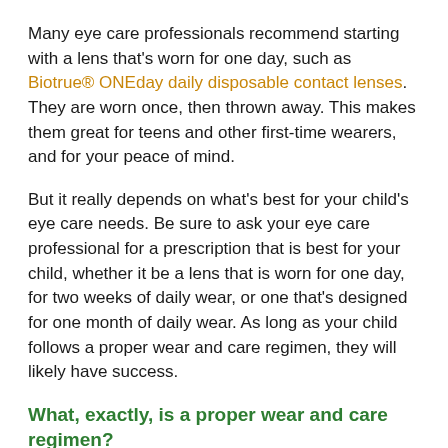Many eye care professionals recommend starting with a lens that's worn for one day, such as Biotrue® ONEday daily disposable contact lenses. They are worn once, then thrown away. This makes them great for teens and other first-time wearers, and for your peace of mind.
But it really depends on what's best for your child's eye care needs. Be sure to ask your eye care professional for a prescription that is best for your child, whether it be a lens that is worn for one day, for two weeks of daily wear, or one that's designed for one month of daily wear. As long as your child follows a proper wear and care regimen, they will likely have success.
What, exactly, is a proper wear and care regimen?
A proper wear and care regimen is critical for contact lens success. The wear and care instructions are based on the lens and wearing cycle your doctor recommends. So follow your doctor's recommendations for proper lens